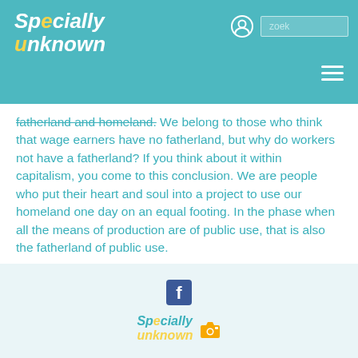Specially unknown — navigation header with logo, user icon, search box, and hamburger menu
fatherland and homeland. We belong to those who think that wage earners have no fatherland, but why do workers not have a fatherland? If you think about it within capitalism, you come to this conclusion. We are people who put their heart and soul into a project to use our homeland one day on an equal footing. In the phase when all the means of production are of public use, that is also the fatherland of public use.
[Figure (logo): Facebook icon (f logo in dark square) in footer area]
[Figure (logo): Specially unknown logo in footer with camera icon]